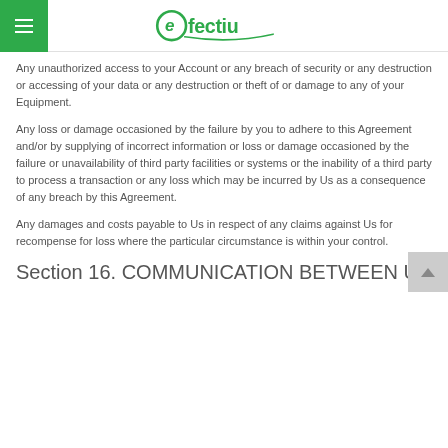efectiu
Any unauthorized access to your Account or any breach of security or any destruction or accessing of your data or any destruction or theft of or damage to any of your Equipment.
Any loss or damage occasioned by the failure by you to adhere to this Agreement and/or by supplying of incorrect information or loss or damage occasioned by the failure or unavailability of third party facilities or systems or the inability of a third party to process a transaction or any loss which may be incurred by Us as a consequence of any breach by this Agreement.
Any damages and costs payable to Us in respect of any claims against Us for recompense for loss where the particular circumstance is within your control.
Section 16. COMMUNICATION BETWEEN US